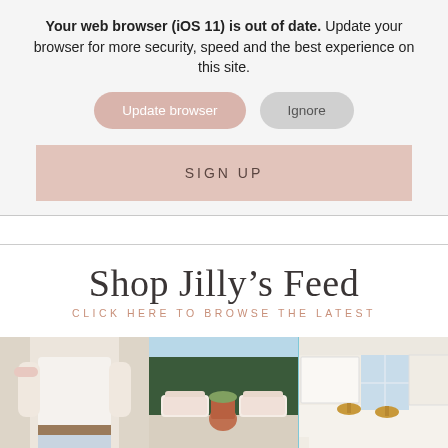Your web browser (iOS 11) is out of date. Update your browser for more security, speed and the best experience on this site.
Update browser | Ignore
SIGN UP
Shop Jilly's Feed
CLICK HERE TO BROWSE THE LATEST
[Figure (photo): Three lifestyle photos side by side: left shows a person in white t-shirt and jeans, center shows a poolside scene with lounge chairs, right shows a bright kitchen interior.]